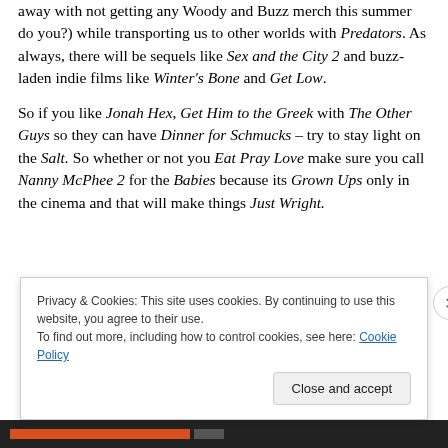away with not getting any Woody and Buzz merch this summer do you?) while transporting us to other worlds with Predators. As always, there will be sequels like Sex and the City 2 and buzz-laden indie films like Winter's Bone and Get Low.
So if you like Jonah Hex, Get Him to the Greek with The Other Guys so they can have Dinner for Schmucks – try to stay light on the Salt. So whether or not you Eat Pray Love make sure you call Nanny McPhee 2 for the Babies because its Grown Ups only in the cinema and that will make things Just Wright.
Privacy & Cookies: This site uses cookies. By continuing to use this website, you agree to their use.
To find out more, including how to control cookies, see here: Cookie Policy